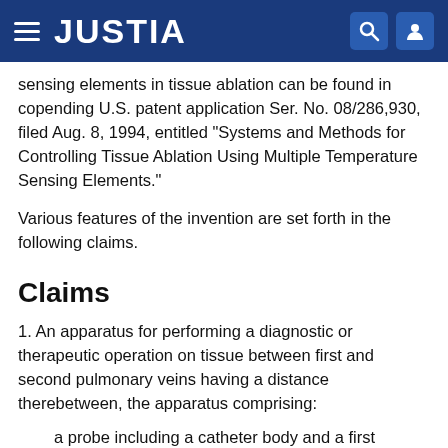JUSTIA
sensing elements in tissue ablation can be found in copending U.S. patent application Ser. No. 08/286,930, filed Aug. 8, 1994, entitled “Systems and Methods for Controlling Tissue Ablation Using Multiple Temperature Sensing Elements.”
Various features of the invention are set forth in the following claims.
Claims
1. An apparatus for performing a diagnostic or therapeutic operation on tissue between first and second pulmonary veins having a distance therebetween, the apparatus comprising:
a probe including a catheter body and a first portion sized and shaped for insertion into the first